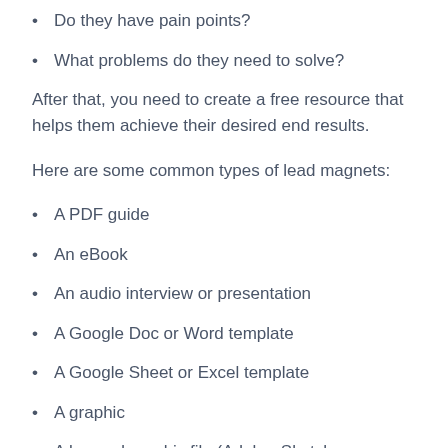Do they have pain points?
What problems do they need to solve?
After that, you need to create a free resource that helps them achieve their desired end results.
Here are some common types of lead magnets:
A PDF guide
An eBook
An audio interview or presentation
A Google Doc or Word template
A Google Sheet or Excel template
A graphic
A layered graphic file (Adobe, Sketch, or Affinity)
A Canva template (link)